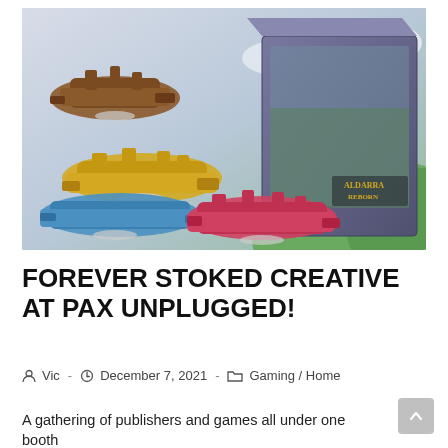[Figure (photo): Photo showing colorful miniature spaceship/airship game pieces in brown, yellow, blue, and red/pink colors, displayed alongside the Aldarra Reborn board game box featuring fantasy artwork of a floating city.]
FOREVER STOKED CREATIVE AT PAX UNPLUGGED!
Vic · December 7, 2021 · Gaming / Home
A gathering of publishers and games all under one booth